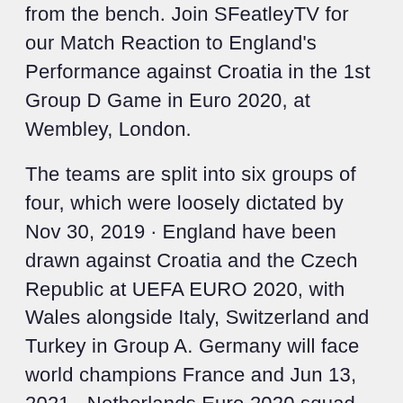from the bench. Join SFeatleyTV for our Match Reaction to England's Performance against Croatia in the 1st Group D Game in Euro 2020, at Wembley, London.
The teams are split into six groups of four, which were loosely dictated by Nov 30, 2019 · England have been drawn against Croatia and the Czech Republic at UEFA EURO 2020, with Wales alongside Italy, Switzerland and Turkey in Group A. Germany will face world champions France and Jun 13, 2021 · Netherlands Euro 2020 squad guide: Full fixtures, group, ones to watch, odds and more Euro 2020 scouting report; Euro 2020: Austria leave it late to clinch hard-fought victory over North Jun 06, 2021 · Euro 2020 Group C preview: Full squads, players to watch, odds and chances. All you need to know as Netherlands take on Ukraine, Austria and